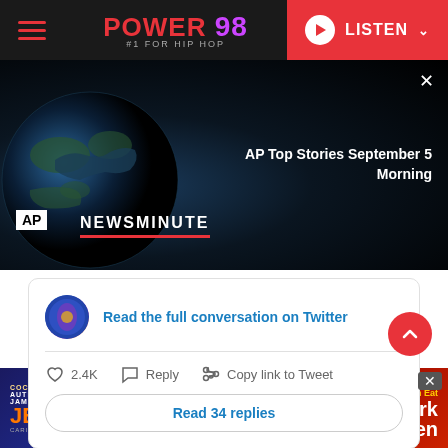POWER 98 #1 FOR HIP HOP — LISTEN
[Figure (screenshot): AP Newsminute video player showing globe image with AP badge and Newsminute text. Title reads: AP Top Stories September 5 Morning]
Read the full conversation on Twitter
2.4K  Reply  Copy link to Tweet
Read 34 replies
[Figure (photo): Advertisement banner for Coco's Authentic Jamaican Jerk - All You Can Eat Jerk Chicken]